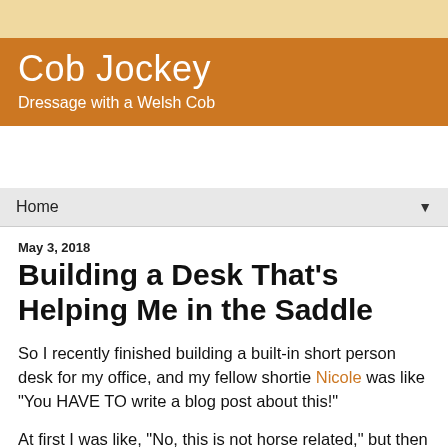Cob Jockey
Dressage with a Welsh Cob
Home
May 3, 2018
Building a Desk That's Helping Me in the Saddle
So I recently finished building a built-in short person desk for my office, and my fellow shortie Nicole was like "You HAVE TO write a blog post about this!"
At first I was like, "No, this is not horse related," but then I remembered L. Williams recent post in which she quoted Mary Wanless: "...we should work on our postural problems the 15 waking hours we are not in the saddle rather than the 1 hour we might actually be in the saddle. It goes a long we...